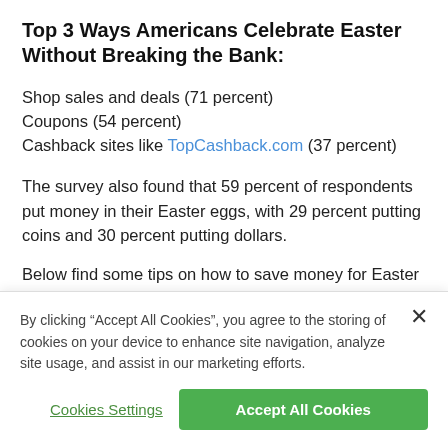Top 3 Ways Americans Celebrate Easter Without Breaking the Bank:
Shop sales and deals (71 percent)
Coupons (54 percent)
Cashback sites like TopCashback.com (37 percent)
The survey also found that 59 percent of respondents put money in their Easter eggs, with 29 percent putting coins and 30 percent putting dollars.
Below find some tips on how to save money for Easter
By clicking “Accept All Cookies”, you agree to the storing of cookies on your device to enhance site navigation, analyze site usage, and assist in our marketing efforts.
Cookies Settings
Accept All Cookies